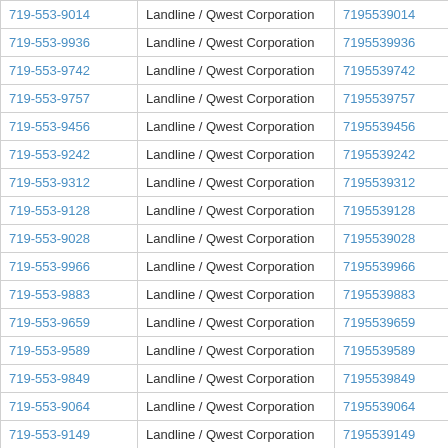| Phone | Type | Number | Action |
| --- | --- | --- | --- |
| 719-553-9014 | Landline / Qwest Corporation | 7195539014 | View |
| 719-553-9936 | Landline / Qwest Corporation | 7195539936 | View |
| 719-553-9742 | Landline / Qwest Corporation | 7195539742 | View |
| 719-553-9757 | Landline / Qwest Corporation | 7195539757 | View |
| 719-553-9456 | Landline / Qwest Corporation | 7195539456 | View |
| 719-553-9242 | Landline / Qwest Corporation | 7195539242 | View |
| 719-553-9312 | Landline / Qwest Corporation | 7195539312 | View |
| 719-553-9128 | Landline / Qwest Corporation | 7195539128 | View |
| 719-553-9028 | Landline / Qwest Corporation | 7195539028 | View |
| 719-553-9966 | Landline / Qwest Corporation | 7195539966 | View |
| 719-553-9883 | Landline / Qwest Corporation | 7195539883 | View |
| 719-553-9659 | Landline / Qwest Corporation | 7195539659 | View |
| 719-553-9589 | Landline / Qwest Corporation | 7195539589 | View |
| 719-553-9849 | Landline / Qwest Corporation | 7195539849 | View |
| 719-553-9064 | Landline / Qwest Corporation | 7195539064 | View |
| 719-553-9149 | Landline / Qwest Corporation | 7195539149 | View |
| 719-553-9275 | Landline / Qwest Corporation | 7195539275 | View |
| 719-553-9859 | Landline / Qwest Corporation | 7195539859 | View |